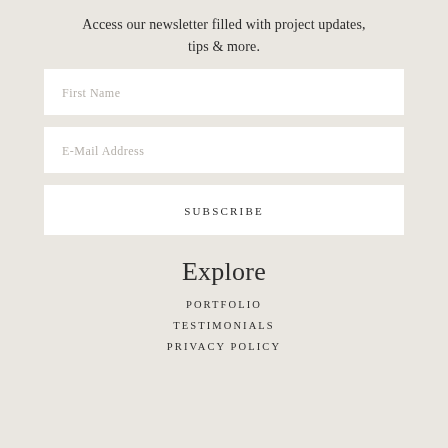Access our newsletter filled with project updates, tips & more.
First Name
E-Mail Address
SUBSCRIBE
Explore
PORTFOLIO
TESTIMONIALS
PRIVACY POLICY